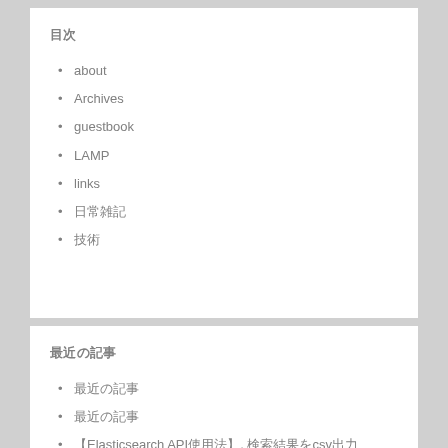目次
about
Archives
guestbook
LAMP
links
日常雑記
技術
最近の記事
最近の記事1
最近の記事2
【Elasticsearch API使用法】, 検索結果をcsv出力
Ubuntu 20.04へのJEIG設定方法（/設定方法